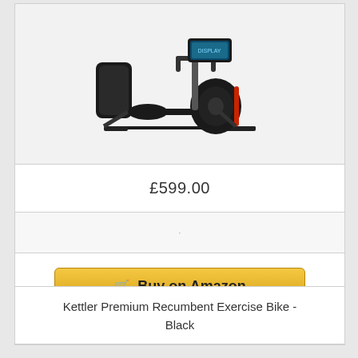[Figure (photo): Black recumbent exercise bike with seat, handlebars, display panel, and pedals on a light grey background]
£599.00
·
🛒 Buy on Amazon
Kettler Premium Recumbent Exercise Bike - Black